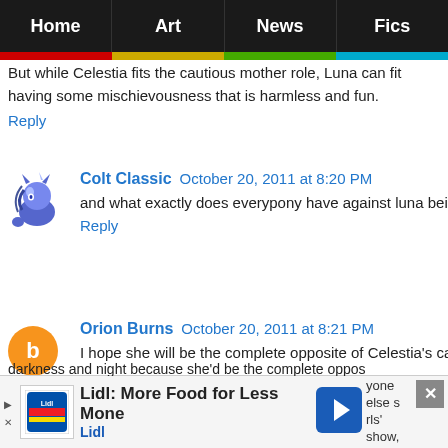Home | Art | News | Fics
But while Celestia fits the cautious mother role, Luna can fit having some mischievousness that is harmless and fun.
Reply
Colt Classic  October 20, 2011 at 8:20 PM
and what exactly does everypony have against luna being sh
Reply
Orion Burns  October 20, 2011 at 8:21 PM
I hope she will be the complete opposite of Celestia's canon p

In other words, I'm hoping for Luna to be a G-rated versio Metal Jacket.

In other, other words, I'm hoping that she will be stern, exa that she won't take any shit from anyone.
[Figure (screenshot): Lidl advertisement banner: 'Lidl: More Food for Less Money' with Lidl logo and navigation arrow icon]